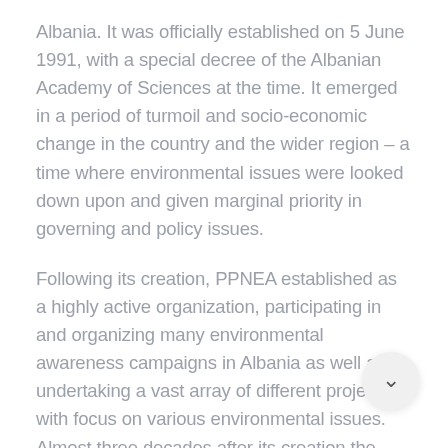Albania. It was officially established on 5 June 1991, with a special decree of the Albanian Academy of Sciences at the time. It emerged in a period of turmoil and socio-economic change in the country and the wider region – a time where environmental issues were looked down upon and given marginal priority in governing and policy issues.
Following its creation, PPNEA established as a highly active organization, participating in and organizing many environmental awareness campaigns in Albania as well as undertaking a vast array of different projects with focus on various environmental issues. Almost three decades after its creation the organization carries with it a vast experience in nature and biodiversity conservation